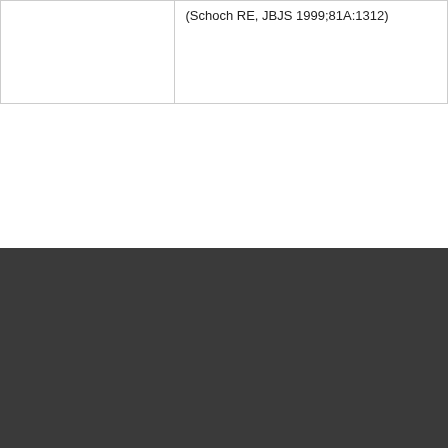|  | (Schoch RE, JBJS 1999;81A:1312) |